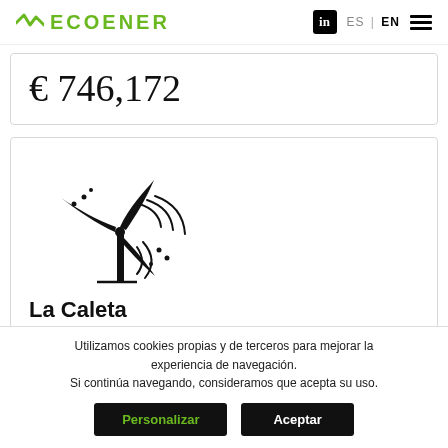ECOENER | ES | EN
€ 746,172
[Figure (illustration): Black line icon of a wind turbine with motion lines and dots indicating wind/movement]
La Caleta
Utilizamos cookies propias y de terceros para mejorar la experiencia de navegación. Si continúa navegando, consideramos que acepta su uso.
Personalizar | Aceptar